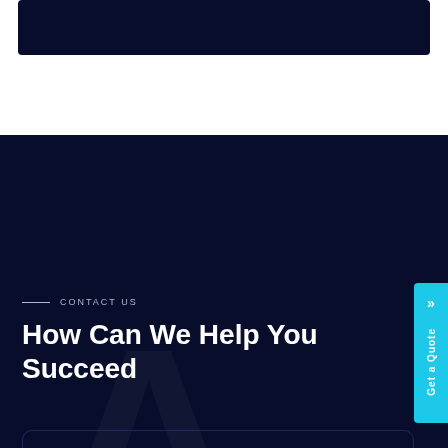[Figure (illustration): Dark navy banner/image at the top of the page]
CONTACT US
How Can We Help You Succeed
Write to us
kamal@pyramidions.com
Let's talk business